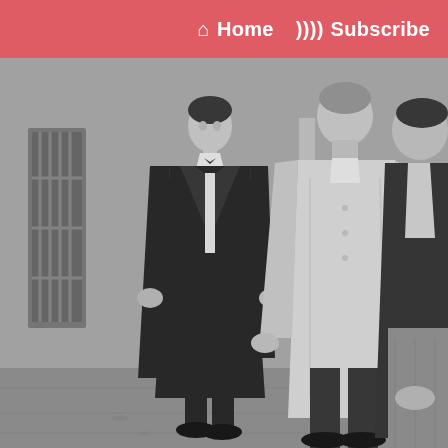Home  Subscribe
[Figure (photo): Black and white photograph of three young men standing outdoors against a wall. The man on the left wears a black suit with a bow tie. The man in the middle wears a light-colored shirt with dark trousers. The man on the right wears a dark jacket with jeans.]